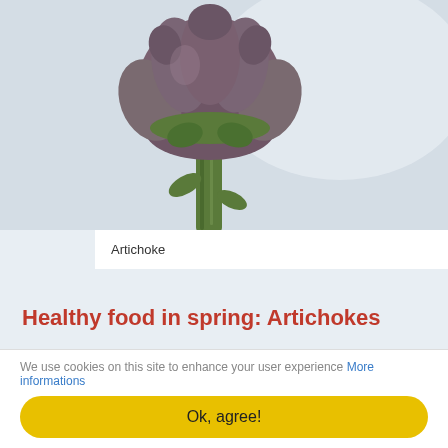[Figure (photo): Close-up photo of an artichoke bud on a green stem against a light background]
Artichoke
Healthy food in spring: Artichokes
01.03.2019  🗒 Food and Drink, Travel Tips, Tuscany, Umbria
Power packages against spring tiredness
We use cookies on this site to enhance your user experience More informations
Ok, agree!